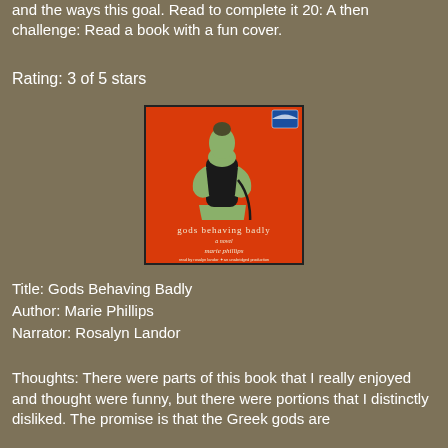and the ways this goal. Read to complete it 20: A then challenge: Read a book with a fun cover.
Rating: 3 of 5 stars
[Figure (illustration): Book cover of 'Gods Behaving Badly' by Marie Phillips. Orange/red background with a green-tinted illustrated woman in a black corset dress holding a cord. Text reads 'gods behaving badly a novel marie phillips' with small text at bottom about narrator and unabridged production.]
Title: Gods Behaving Badly
Author: Marie Phillips
Narrator: Rosalyn Landor
Thoughts: There were parts of this book that I really enjoyed and thought were funny, but there were portions that I distinctly disliked. The promise is that the Greek gods are